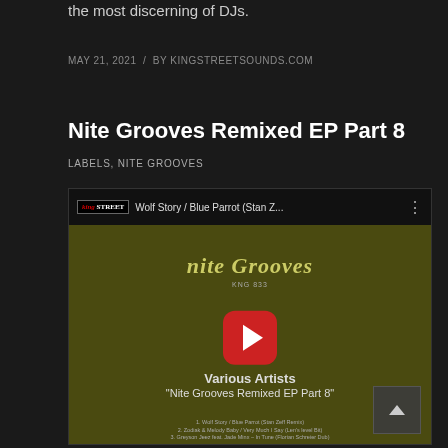the most discerning of DJs.
MAY 21, 2021  /  BY KINGSTREETSOUNDS.COM
Nite Grooves Remixed EP Part 8
LABELS, NITE GROOVES
[Figure (screenshot): Embedded YouTube video player showing Wolf Story / Blue Parrot (Stan Z... with King Street Sounds logo, thumbnail showing Nite Grooves label art with play button, Various Artists 'Nite Grooves Remixed EP Part 8' text and tracklist]